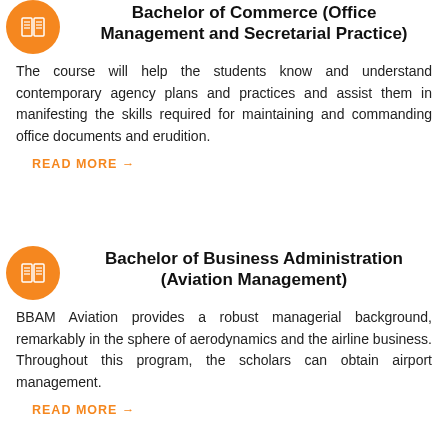Bachelor of Commerce (Office Management and Secretarial Practice)
The course will help the students know and understand contemporary agency plans and practices and assist them in manifesting the skills required for maintaining and commanding office documents and erudition.
READ MORE →
Bachelor of Business Administration (Aviation Management)
BBAM Aviation provides a robust managerial background, remarkably in the sphere of aerodynamics and the airline business. Throughout this program, the scholars can obtain airport management.
READ MORE →